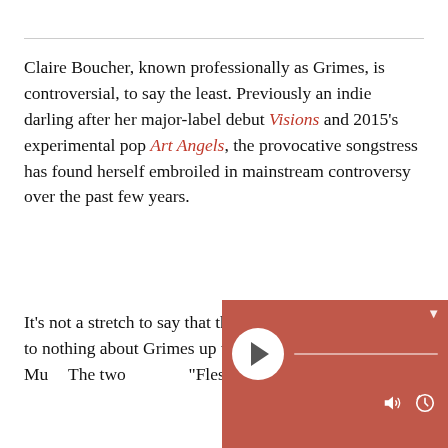Claire Boucher, known professionally as Grimes, is controversial, to say the least. Previously an indie darling after her major-label debut Visions and 2015's experimental pop Art Angels, the provocative songstress has found herself embroiled in mainstream controversy over the past few years.
It's not a stretch to say that the general public knew little to nothing about Grimes up until around 2... Elon Mu... The two... "Flesh W...
[Figure (other): Audio player overlay with terracotta/rust background, circular white play button with triangle icon, horizontal progress bar, and bottom controls including speaker/volume icon and history icon.]